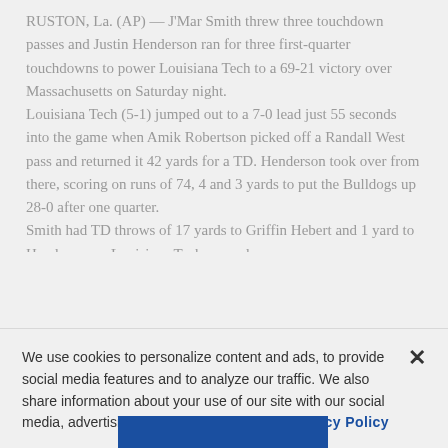RUSTON, La. (AP) — J'Mar Smith threw three touchdown passes and Justin Henderson ran for three first-quarter touchdowns to power Louisiana Tech to a 69-21 victory over Massachusetts on Saturday night.
Louisiana Tech (5-1) jumped out to a 7-0 lead just 55 seconds into the game when Amik Robertson picked off a Randall West pass and returned it 42 yards for a TD. Henderson took over from there, scoring on runs of 74, 4 and 3 yards to put the Bulldogs up 28-0 after one quarter.
Smith had TD throws of 17 yards to Griffin Hebert and 1 yard to Henderson as Louisiana Tech opened a
We use cookies to personalize content and ads, to provide social media features and to analyze our traffic. We also share information about your use of our site with our social media, advertising and analytics partners.  Privacy Policy